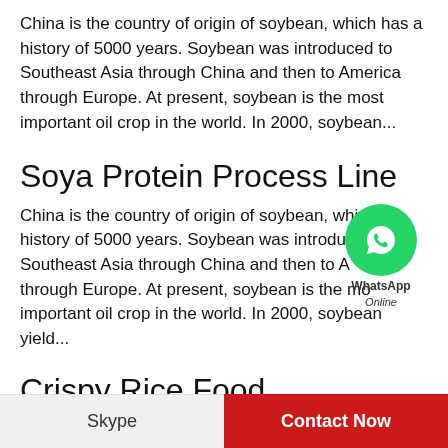China is the country of origin of soybean, which has a history of 5000 years. Soybean was introduced to Southeast Asia through China and then to America through Europe. At present, soybean is the most important oil crop in the world. In 2000, soybean...
Soya Protein Process Line
China is the country of origin of soybean, which has a history of 5000 years. Soybean was introduced to Southeast Asia through China and then to America through Europe. At present, soybean is the most important oil crop in the world. In 2000, soybean yield...
Crispy Rice Food Processing Line
But the quality of not to the bottom of the pot also...
Skype | Contact Now